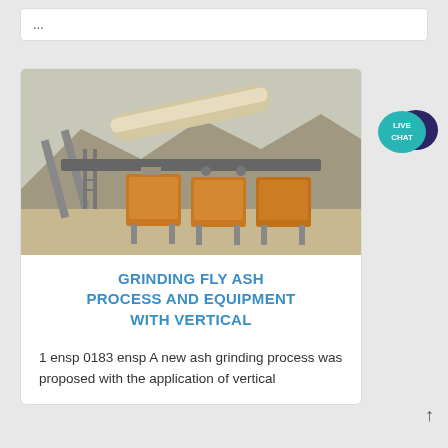...
[Figure (photo): Industrial grinding equipment at an outdoor site with mountains in background. Shows large orange-colored machinery components, conveyor structures, ladders, and piping against a hazy sky.]
GRINDING FLY ASH PROCESS AND EQUIPMENT WITH VERTICAL
1 ensp 0183 ensp A new ash grinding process was proposed with the application of vertical